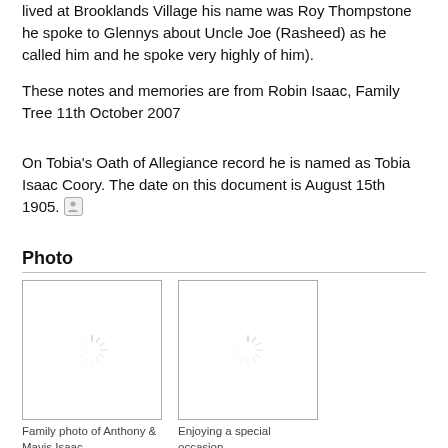lived at Brooklands Village his name was Roy Thompstone he spoke to Glennys about Uncle Joe (Rasheed) as he called him and he spoke very highly of him).
These notes and memories are from Robin Isaac, Family Tree 11th October 2007
On Tobia's Oath of Allegiance record he is named as Tobia Isaac Coory. The date on this document is August 15th 1905.
Photo
[Figure (photo): Loading placeholder for family photo of Anthony & Mavis Isaac — white box with grey border and spinner icon]
Family photo of Anthony & Mavis Isaac
[Figure (photo): Loading placeholder for photo 'Enjoying a special occasion' — white box with grey border and spinner icon]
Enjoying a special occasion